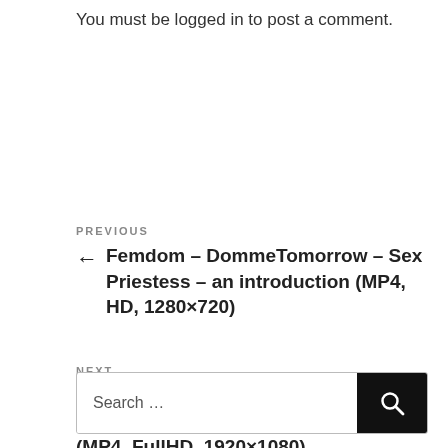You must be logged in to post a comment.
PREVIOUS
← Femdom – DommeTomorrow – Sex Priestess – an introduction (MP4, HD, 1280×720)
NEXT
Femdom – Princess Isabella – Moneypulation Deluxe feat JanaLogan (MP4, FullHD, 1920×1080) →